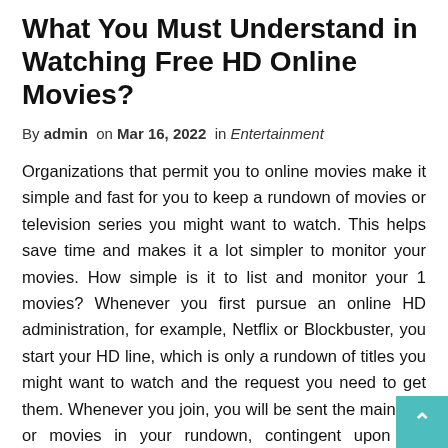What You Must Understand in Watching Free HD Online Movies?
By admin  on Mar 16, 2022  in Entertainment
Organizations that permit you to online movies make it simple and fast for you to keep a rundown of movies or television series you might want to watch. This helps save time and makes it a lot simpler to monitor your movies. How simple is it to list and monitor your 1 movies? Whenever you first pursue an online HD administration, for example, Netflix or Blockbuster, you start your HD line, which is only a rundown of titles you might want to watch and the request you need to get them. Whenever you join, you will be sent the main film or movies in your rundown, contingent upon the number of DVDs your enrollment permits you to hold at any